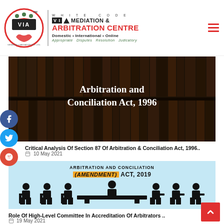[Figure (logo): White Code VIA Mediation & Arbitration Centre logo with circular emblem showing handshake and people figures, red and black colors. Text: WHITE CODE, VIA MEDIATION & ARBITRATION CENTRE, Domestic • International • Online, Appropriate Disputes Resolution Judicatory]
[Figure (photo): Image of law books with overlay text: Arbitration and Conciliation Act, 1996]
Critical Analysis Of Section 87 Of Arbitration & Conciliation Act, 1996..
10 May 2021
[Figure (illustration): Light blue infographic image: ARBITRATION AND CONCILIATION (AMENDMENT) ACT, 2019 with silhouette figures seated at tables in arbitration arrangement]
Role Of High-Level Committee In Accreditation Of Arbitrators ..
19 May 2021
[Figure (photo): Partial image at bottom of page, appears to be a person, cropped]